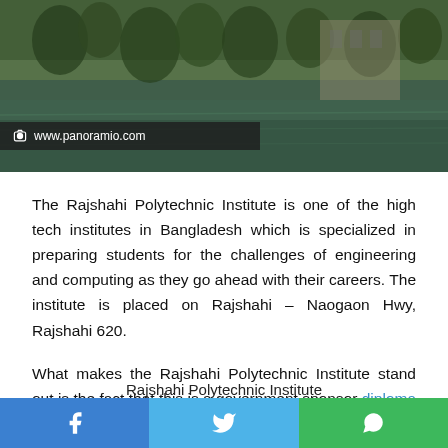[Figure (photo): Outdoor scenic photo of Rajshahi Polytechnic Institute campus showing trees reflected in water, with a watermark overlay reading www.panoramio.com]
The Rajshahi Polytechnic Institute is one of the high tech institutes in Bangladesh which is specialized in preparing students for the challenges of engineering and computing as they go ahead with their careers. The institute is placed on Rajshahi – Naogaon Hwy, Rajshahi 620.
What makes the Rajshahi Polytechnic Institute stand out is the fact that this is a government sponsor diploma college and it can be found under the name RPI.
Rajshahi Polytechnic Institute